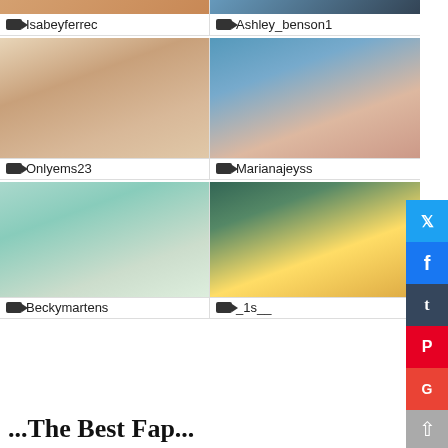[Figure (screenshot): Webcam thumbnail grid showing 6 streamer profiles: Isabeyferrec, Ashley_benson1, Onlyems23, Marianajeyss, Beckymartens, _1s__]
📹 Isabeyferrec
📹 Ashley_benson1
📹 Onlyems23
📹 Marianajeyss
📹 Beckymartens
📹 _1s__
...